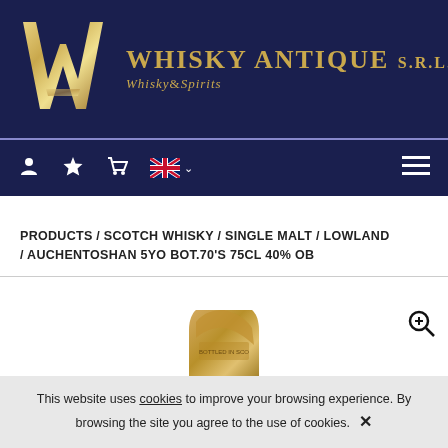[Figure (logo): Whisky Antique S.R.L. logo with large golden W/A monogram and text 'WHISKY ANTIQUE S.R.L. Whisky & Spirits' on dark navy background]
Navigation bar with user, favourites, cart icons, UK flag language selector, and hamburger menu
PRODUCTS / SCOTCH WHISKY / SINGLE MALT / LOWLAND / AUCHENTOSHAN 5YO BOT.70'S 75CL 40% OB
[Figure (photo): Top portion of a whisky bottle (Auchentoshan) with gold foil capsule and green bottle neck, with zoom icon in top right]
This website uses cookies to improve your browsing experience. By browsing the site you agree to the use of cookies. ✕